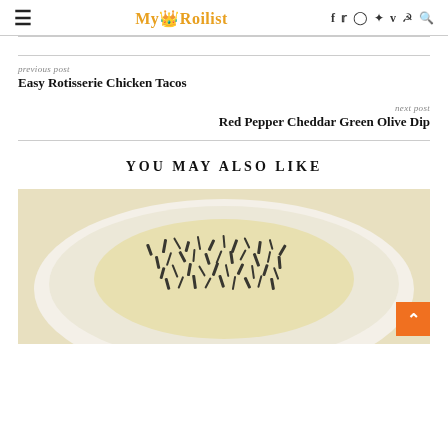My Roilist
previous post
Easy Rotisserie Chicken Tacos
next post
Red Pepper Cheddar Green Olive Dip
YOU MAY ALSO LIKE
[Figure (photo): Food photo showing a dish with dark shredded toppings (possibly black rice or herbs) on a light creamy base, served on a white plate.]